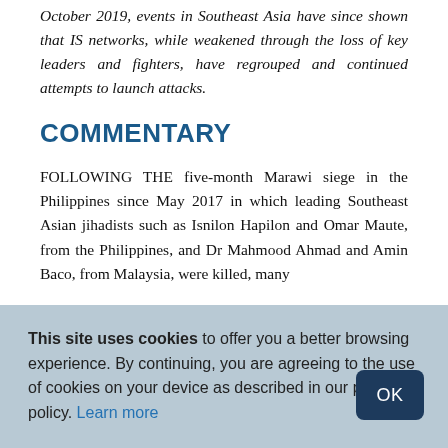October 2019, events in Southeast Asia have since shown that IS networks, while weakened through the loss of key leaders and fighters, have regrouped and continued attempts to launch attacks.
COMMENTARY
FOLLOWING THE five-month Marawi siege in the Philippines since May 2017 in which leading Southeast Asian jihadists such as Isnilon Hapilon and Omar Maute, from the Philippines, and Dr Mahmood Ahmad and Amin Baco, from Malaysia, were killed, many
This site uses cookies to offer you a better browsing experience. By continuing, you are agreeing to the use of cookies on your device as described in our privacy policy. Learn more